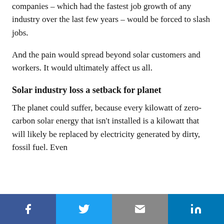companies – which had the fastest job growth of any industry over the last few years – would be forced to slash jobs.
And the pain would spread beyond solar customers and workers. It would ultimately affect us all.
Solar industry loss a setback for planet
The planet could suffer, because every kilowatt of zero-carbon solar energy that isn't installed is a kilowatt that will likely be replaced by electricity generated by dirty, fossil fuel. Even
Facebook Twitter Email LinkedIn